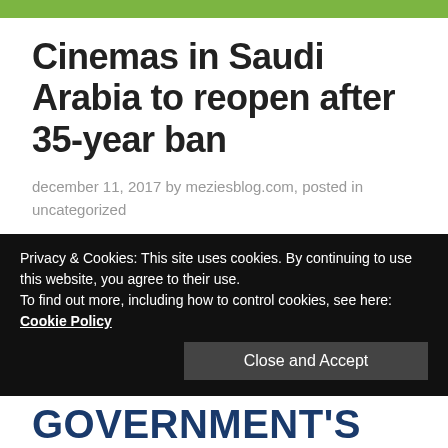Cinemas in Saudi Arabia to reopen after 35-year ban
december 11, 2017 by meziesblog.com, posted in uncategorized
MANY CITIZENS OF SAUDI ARABIA HAVE EXPRESSED
Privacy & Cookies: This site uses cookies. By continuing to use this website, you agree to their use. To find out more, including how to control cookies, see here: Cookie Policy
Close and Accept
GOVERNMENT'S